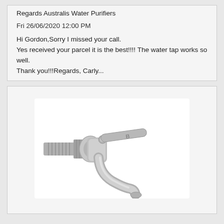Regards Australis Water Purifiers
Fri 26/06/2020 12:00 PM
Hi Gordon,Sorry I missed your call.
Yes received your parcel it is the best!!!! The water tap works so well.
Thank you!!!Regards, Carly...
[Figure (photo): Photo of a stainless steel water tap/spigot with a lever handle, shown against a white background. The tap has a threaded inlet on the left and a curved spout at the bottom.]